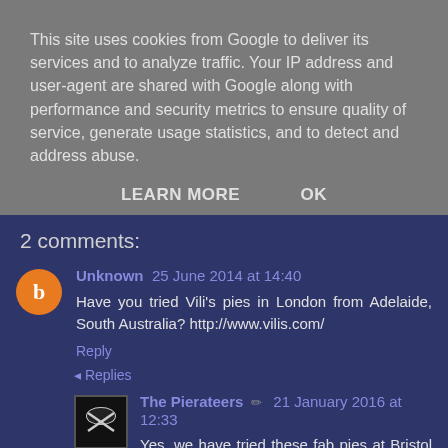This site uses cookies from Google to deliver its services and to analyze traffic. Your IP address and user-agent are shared with Google along with performance and security metrics to ensure quality of service, generate usage statistics, and to detect and address abuse.
LEARN MORE   OK
2 comments:
Unknown 25 June 2014 at 14:40
Have you tried Vili's pies in London from Adelaide, South Australia? http://www.vilis.com/
Reply
▾ Replies
The Pierateers 21 January 2016 at 12:33
Yes, we have tried these fab pies at Bristol Rovers.